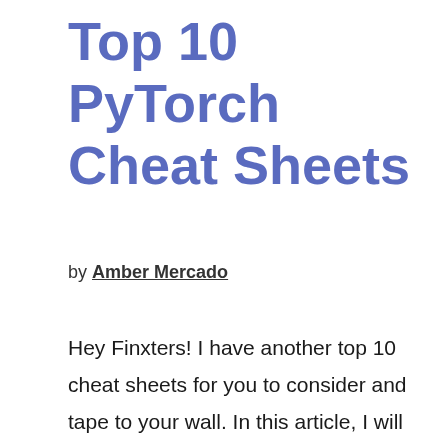Top 10 PyTorch Cheat Sheets
by Amber Mercado
Hey Finxters! I have another top 10 cheat sheets for you to consider and tape to your wall. In this article, I will be presenting the best Pytorch cheat sheets available. Keep them handy when you are working on a project and would